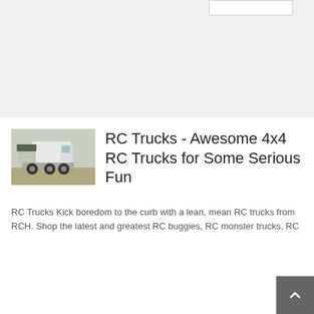[Figure (photo): Thumbnail photo of a large white RC truck / semi-truck cab viewed from the side, parked on pavement with a grey sky background.]
RC Trucks - Awesome 4x4 RC Trucks for Some Serious Fun
RC Trucks Kick boredom to the curb with a lean, mean RC trucks from RCH. Shop the latest and greatest RC buggies, RC monster trucks, RC